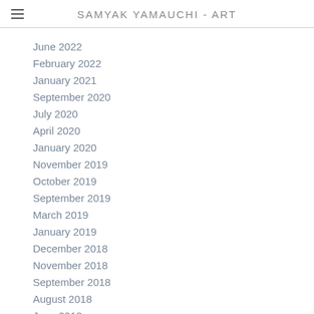SAMYAK YAMAUCHI - ART
June 2022
February 2022
January 2021
September 2020
July 2020
April 2020
January 2020
November 2019
October 2019
September 2019
March 2019
January 2019
December 2018
November 2018
September 2018
August 2018
June 2018
May 2018